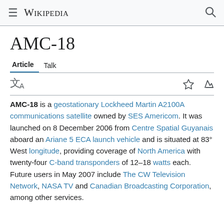Wikipedia
AMC-18
Article  Talk
AMC-18 is a geostationary Lockheed Martin A2100A communications satellite owned by SES Americom. It was launched on 8 December 2006 from Centre Spatial Guyanais aboard an Ariane 5 ECA launch vehicle and is situated at 83° West longitude, providing coverage of North America with twenty-four C-band transponders of 12–18 watts each. Future users in May 2007 include The CW Television Network, NASA TV and Canadian Broadcasting Corporation, among other services.